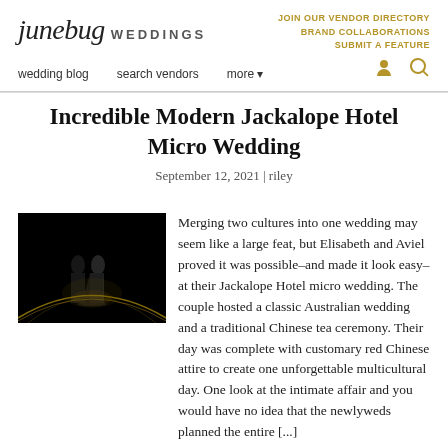junebug WEDDINGS | JOIN OUR VENDOR DIRECTORY BRAND COLLABORATIONS SUBMIT A FEATURE | wedding blog  search vendors  more
Incredible Modern Jackalope Hotel Micro Wedding
September 12, 2021 | riley
[Figure (photo): Dark artistic wedding photo of a couple standing together with dramatic lighting and golden streaks on a dark background]
Merging two cultures into one wedding may seem like a large feat, but Elisabeth and Aviel proved it was possible–and made it look easy–at their Jackalope Hotel micro wedding. The couple hosted a classic Australian wedding and a traditional Chinese tea ceremony. Their day was complete with customary red Chinese attire to create one unforgettable multicultural day. One look at the intimate affair and you would have no idea that the newlyweds planned the entire [...]